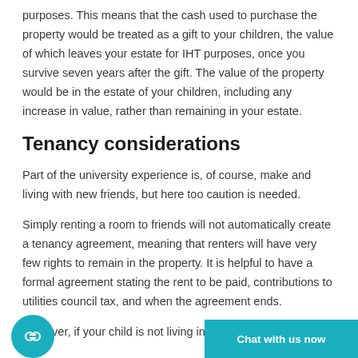purposes. This means that the cash used to purchase the property would be treated as a gift to your children, the value of which leaves your estate for IHT purposes, once you survive seven years after the gift. The value of the property would be in the estate of your children, including any increase in value, rather than remaining in your estate.
Tenancy considerations
Part of the university experience is, of course, make and living with new friends, but here too caution is needed.
Simply renting a room to friends will not automatically create a tenancy agreement, meaning that renters will have very few rights to remain in the property. It is helpful to have a formal agreement stating the rent to be paid, contributions to utilities council tax, and when the agreement ends.
However, if your child is not living in the prop...